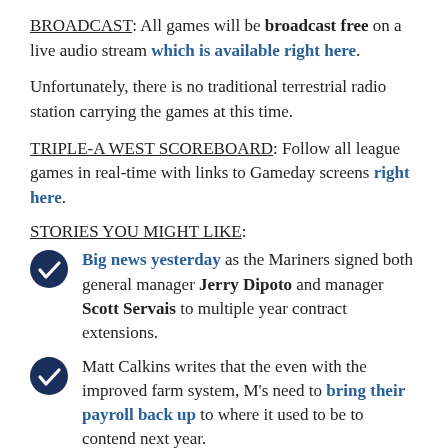BROADCAST: All games will be broadcast free on a live audio stream which is available right here.
Unfortunately, there is no traditional terrestrial radio station carrying the games at this time.
TRIPLE-A WEST SCOREBOARD: Follow all league games in real-time with links to Gameday screens right here.
STORIES YOU MIGHT LIKE:
Big news yesterday as the Mariners signed both general manager Jerry Dipoto and manager Scott Servais to multiple year contract extensions.
Matt Calkins writes that the even with the improved farm system, M's need to bring their payroll back up to where it used to be to contend next year.
The M's beat Houston on Tuesday, 4-0, as Abraham